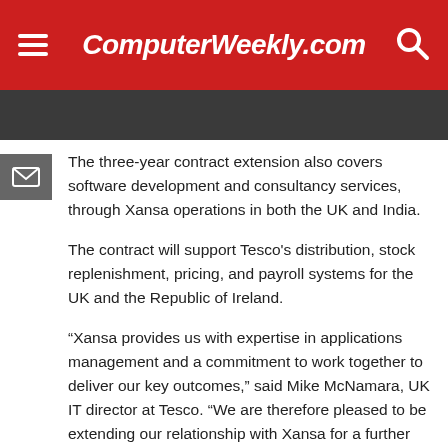ComputerWeekly.com
The three-year contract extension also covers software development and consultancy services, through Xansa operations in both the UK and India.
The contract will support Tesco's distribution, stock replenishment, pricing, and payroll systems for the UK and the Republic of Ireland.
“Xansa provides us with expertise in applications management and a commitment to work together to deliver our key outcomes,” said Mike McNamara, UK IT director at Tesco. “We are therefore pleased to be extending our relationship with Xansa for a further three years.”